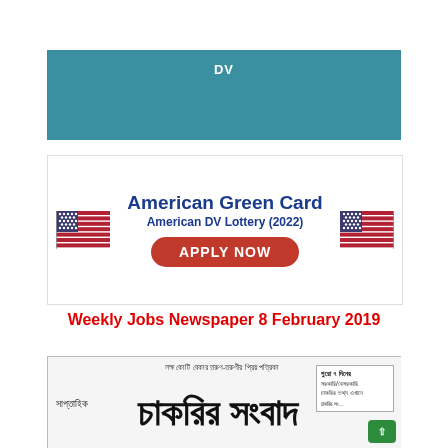[Figure (other): Teal/blue-green banner with text 'DV' in white]
[Figure (infographic): American Green Card / American DV Lottery (2022) advertisement with US flags and APPLY NOW button]
Weekly Jobs Newspaper 8 February 2019
[Figure (photo): Newspaper front page of Saptahik Chakrir Sangbad (Weekly Jobs News) - Bengali language jobs newspaper]